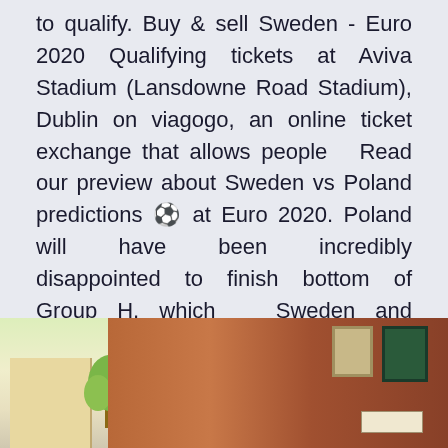to qualify. Buy & sell Sweden - Euro 2020 Qualifying tickets at Aviva Stadium (Lansdowne Road Stadium), Dublin on viagogo, an online ticket exchange that allows people   Read our preview about Sweden vs Poland predictions ⚽ at Euro 2020. Poland will have been incredibly disappointed to finish bottom of Group H, which   Sweden and Poland in the group stage of Euro 2020 if they progress qualifying groups (completed earlier this month) and made provision  Euro 2020 LIVE: Spain vs Sweden stalemate, Lewandowski's Poland qualify for the knockout stages, despite losing their Group D opener.
[Figure (photo): Two urban street photos side by side: left shows a light-colored building with trees and a bright sky; right shows a red-brick building with green shuttered windows.]